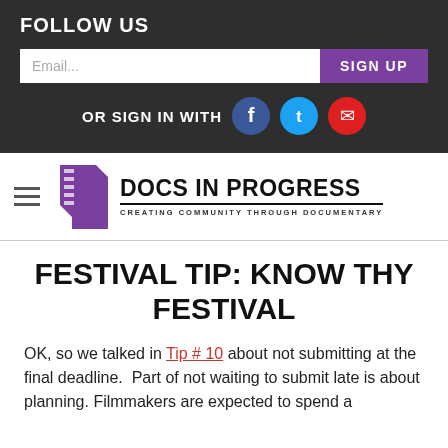FOLLOW US
[Figure (screenshot): Email input field with SIGN UP button and social sign-in icons (Facebook, Twitter, Email)]
[Figure (logo): Docs In Progress logo — film strip icon with text DOCS IN PROGRESS and tagline CREATING COMMUNITY THROUGH DOCUMENTARY]
FESTIVAL TIP: KNOW THY FESTIVAL
OK, so we talked in Tip # 10 about not submitting at the final deadline.  Part of not waiting to submit late is about planning. Filmmakers are expected to spend a